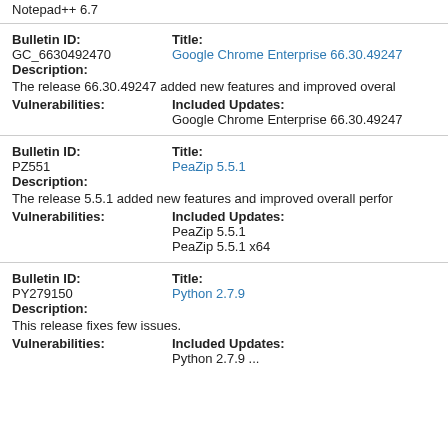Notepad++ 6.7
Bulletin ID: GC_6630492470
Title: Google Chrome Enterprise 66.30.49247
Description:
The release 66.30.49247 added new features and improved overal
Vulnerabilities:
Included Updates:
Google Chrome Enterprise 66.30.49247
Bulletin ID: PZ551
Title: PeaZip 5.5.1
Description:
The release 5.5.1 added new features and improved overall perfor
Vulnerabilities:
Included Updates:
PeaZip 5.5.1
PeaZip 5.5.1 x64
Bulletin ID: PY279150
Title: Python 2.7.9
Description:
This release fixes few issues.
Vulnerabilities:
Included Updates:
Python 2.7.9